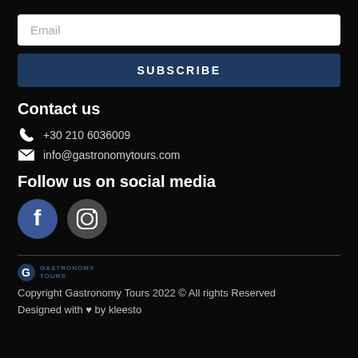Email
SUBSCRIBE
Contact us
+30 210 6036009
info@gastronomytours.com
Follow us on social media
[Figure (logo): Facebook and Instagram social media icon circles]
[Figure (logo): Gastronomy Tours logo]
Copyright Gastronomy Tours 2022 © All rights Reserved
Designed with ♥ by kleesto